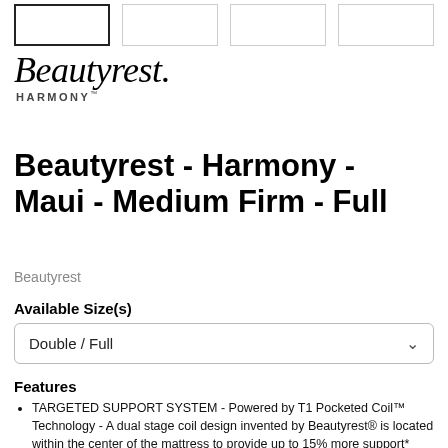[Figure (other): Four product thumbnail images in a horizontal strip at the top of the page, the first one with a bold border indicating selection.]
[Figure (logo): Beautyrest Harmony logo — italic serif 'Beautyrest.' wordmark with 'HARMONY™' in small caps beneath.]
Beautyrest - Harmony - Maui - Medium Firm - Full
Beautyrest
Available Size(s)
Double / Full
Features
TARGETED SUPPORT SYSTEM - Powered by T1 Pocketed Coil™ Technology - A dual stage coil design invented by Beautyrest® is located within the center of the mattress to provide up to 15% more support* where you need it most.
IDEAL SLEEP TEMPERATURE - NaturalCool™ - Features eco-friendly TENCEL™ yarn for exceptional breathability and moisture management above an antimicrobial performance layer to help